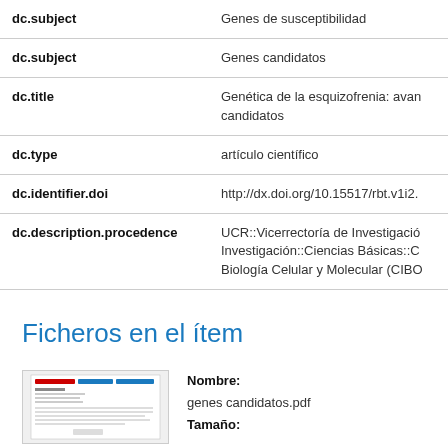| Field | Value |
| --- | --- |
| dc.subject | Genes de susceptibilidad |
| dc.subject | Genes candidatos |
| dc.title | Genética de la esquizofrenia: avan... candidatos |
| dc.type | artículo científico |
| dc.identifier.doi | http://dx.doi.org/10.15517/rbt.v1i2... |
| dc.description.procedence | UCR::Vicerrectoría de Investigació... Investigación::Ciencias Básicas::C... Biología Celular y Molecular (CIBO |
Ficheros en el ítem
[Figure (other): Thumbnail of document genes candidatos.pdf]
Nombre: genes candidatos.pdf
Tamaño: